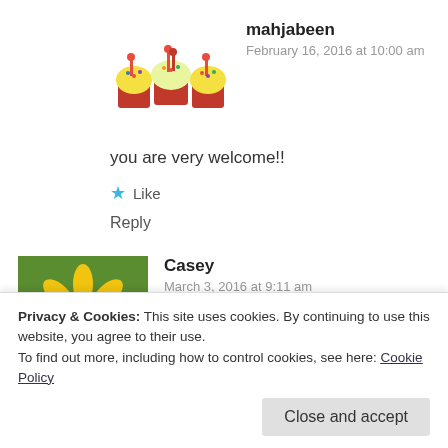[Figure (photo): Avatar of cupcakes with red frosting and sprinkles]
mahjabeen
February 16, 2016 at 10:00 am
you are very welcome!!
★ Like
Reply
[Figure (photo): Avatar of yellow sunflower on green background]
Casey
March 3, 2016 at 9:11 am
“Forgiveness” is harder than it sounds.
Privacy & Cookies: This site uses cookies. By continuing to use this website, you agree to their use.
To find out more, including how to control cookies, see here: Cookie Policy
Close and accept
I've found that most people who say